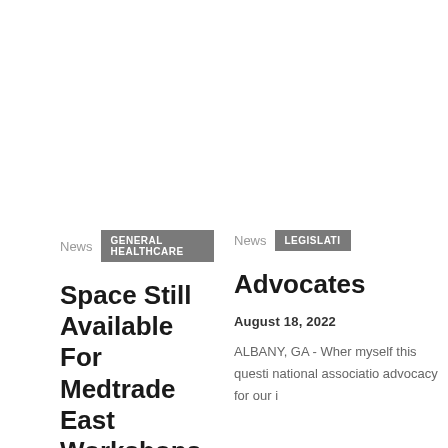News  GENERAL HEALTHCARE
Space Still Available For Medtrade East Workshops
August 18, 2022
ATLANTA – Medtrade East attendees looking to maximize their trip may wish to participate in one of four in-depth workshops.
News  LEGISLATIVE
Advocates
August 18, 2022
ALBANY, GA - When myself this questi national associatio advocacy for our i